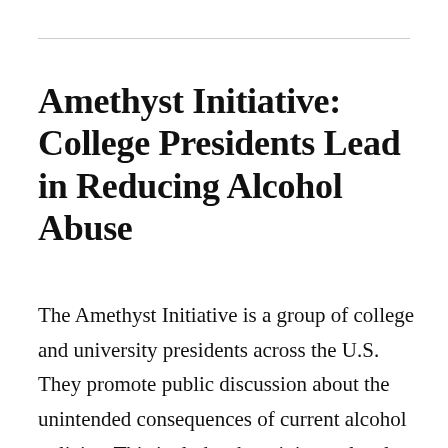Amethyst Initiative: College Presidents Lead in Reducing Alcohol Abuse
The Amethyst Initiative is a group of college and university presidents across the U.S. They promote public discussion about the unintended consequences of current alcohol policies. This includes the minimum legal